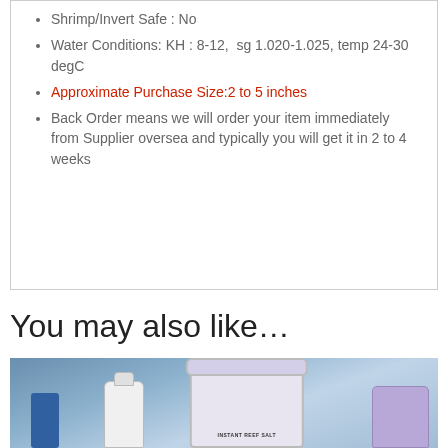Shrimp/Invert Safe : No
Water Conditions: KH : 8-12,  sg 1.020-1.025, temp 24-30 degC
Approximate Purchase Size:2 to 5 inches
Back Order means we will order your item immediately from Supplier oversea and typically you will get it in 2 to 4 weeks
You may also like…
[Figure (photo): Photo of aquarium supply products including a large white bucket labeled INSTANT REEF SALT, a small white bottle, and other containers on a shelf]